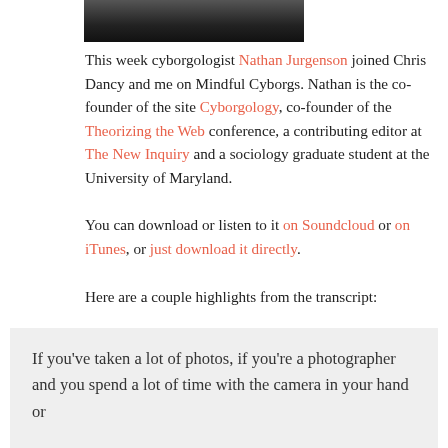[Figure (photo): Partial view of a person's photo, dark toned, cropped at top of page]
This week cyborgologist Nathan Jurgenson joined Chris Dancy and me on Mindful Cyborgs. Nathan is the co-founder of the site Cyborgology, co-founder of the Theorizing the Web conference, a contributing editor at The New Inquiry and a sociology graduate student at the University of Maryland.
You can download or listen to it on Soundcloud or on iTunes, or just download it directly.
Here are a couple highlights from the transcript:
If you've taken a lot of photos, if you're a photographer and you spend a lot of time with the camera in your hand or